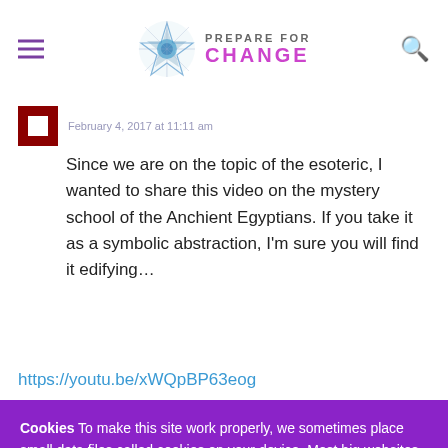PREPARE FOR CHANGE
Since we are on the topic of the esoteric, I wanted to share this video on the mystery school of the Anchient Egyptians. If you take it as a symbolic abstraction, I'm sure you will find it edifying…
https://youtu.be/xWQpBP63eog
Cookies To make this site work properly, we sometimes place small data files called cookies on your device. Most big websites do this too.
✓ Accept
Change Settings ⚙